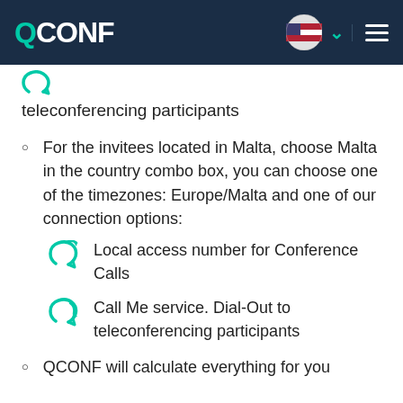QCONF
teleconferencing participants
For the invitees located in Malta, choose Malta in the country combo box, you can choose one of the timezones: Europe/Malta and one of our connection options:
Local access number for Conference Calls
Call Me service. Dial-Out to teleconferencing participants
QCONF will calculate everything for you